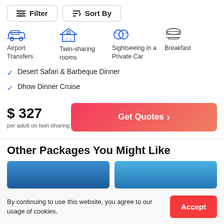Filter | Sort By
[Figure (infographic): Four icons: Airport Transfers (car icon), Twin-sharing rooms (house icon), Sightseeing in a Private Car (binoculars icon), Breakfast (dome/cloche icon)]
Desert Safari & Barbeque Dinner
Dhow Dinner Cruise
$ 327
per adult on twin sharing
Get Quotes >
Other Packages You Might Like
[Figure (photo): Two partial travel package images in blue tones]
By continuing to use this website, you agree to our usage of cookies.
Accept